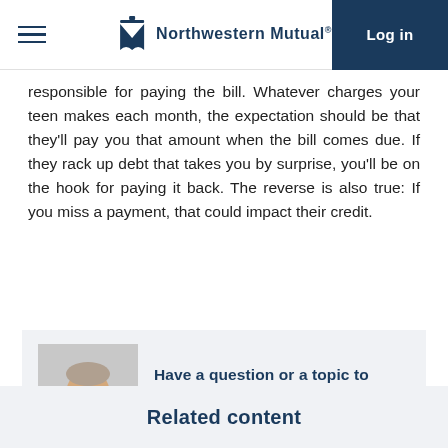Northwestern Mutual | Log in
responsible for paying the bill. Whatever charges your teen makes each month, the expectation should be that they'll pay you that amount when the bill comes due. If they rack up debt that takes you by surprise, you'll be on the hook for paying it back. The reverse is also true: If you miss a payment, that could impact their credit.
[Figure (photo): Headshot of a male financial advisor in a dark suit with red tie, smiling]
Have a question or a topic to discuss with your advisor? Reach out
Related content